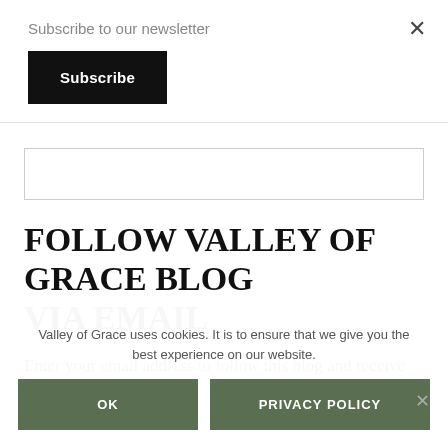Subscribe to our newsletter
Subscribe
FOLLOW VALLEY OF GRACE BLOG VIA EMAIL
Enter your email address to follow this blog and receive notifications of new posts by email.
Valley of Grace uses cookies. It is to ensure that we give you the best experience on our website.
OK
PRIVACY POLICY